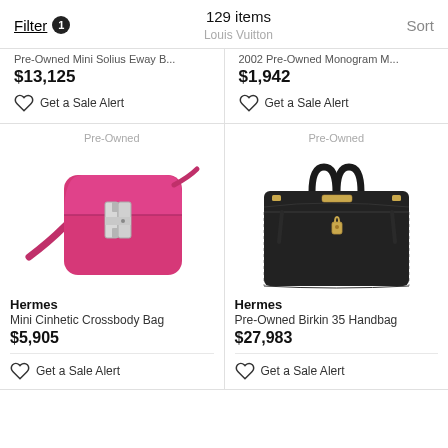Filter 1   129 items   Louis Vuitton   Sort
Pre-Owned Mini Solius Eway B...
$13,125
Get a Sale Alert
2002 Pre-Owned Monogram M...
$1,942
Get a Sale Alert
Pre-Owned
[Figure (photo): Pink/magenta Hermes Mini Cinhetic Crossbody Bag with silver H clasp and shoulder strap]
Hermes
Mini Cinhetic Crossbody Bag
$5,905
Get a Sale Alert
Pre-Owned
[Figure (photo): Black Hermes Pre-Owned Birkin 35 Handbag with gold hardware and padlock]
Hermes
Pre-Owned Birkin 35 Handbag
$27,983
Get a Sale Alert